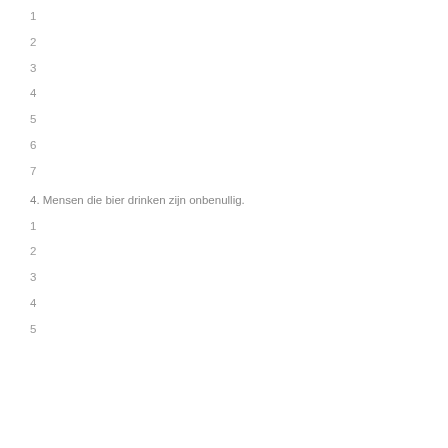1
2
3
4
5
6
7
4. Mensen die bier drinken zijn onbenullig.
1
2
3
4
5